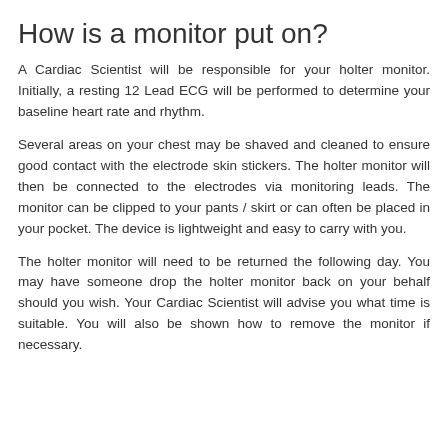How is a monitor put on?
A Cardiac Scientist will be responsible for your holter monitor. Initially, a resting 12 Lead ECG will be performed to determine your baseline heart rate and rhythm.
Several areas on your chest may be shaved and cleaned to ensure good contact with the electrode skin stickers. The holter monitor will then be connected to the electrodes via monitoring leads. The monitor can be clipped to your pants / skirt or can often be placed in your pocket. The device is lightweight and easy to carry with you.
The holter monitor will need to be returned the following day. You may have someone drop the holter monitor back on your behalf should you wish. Your Cardiac Scientist will advise you what time is suitable. You will also be shown how to remove the monitor if necessary.